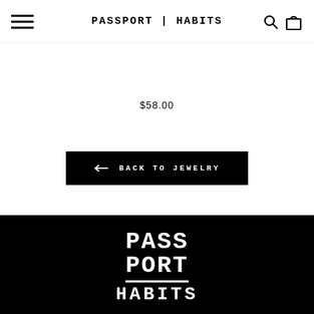PASSPORT | HABITS
$58.00
← BACK TO JEWELRY
[Figure (logo): Passport Habits stacked logo in white on black background: PASS PORT with horizontal rule and HABITS below]
MAIN MENU
USEFUL LINKS